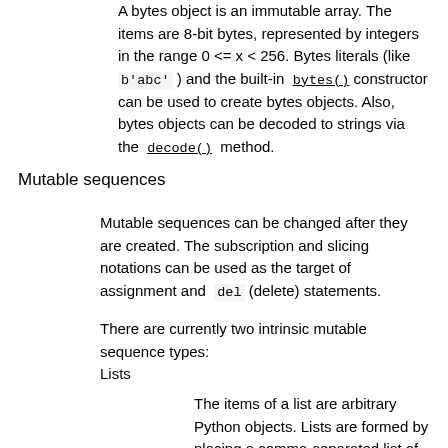A bytes object is an immutable array. The items are 8-bit bytes, represented by integers in the range 0 <= x < 256. Bytes literals (like b'abc' ) and the built-in bytes() constructor can be used to create bytes objects. Also, bytes objects can be decoded to strings via the decode() method.
Mutable sequences
Mutable sequences can be changed after they are created. The subscription and slicing notations can be used as the target of assignment and del (delete) statements.
There are currently two intrinsic mutable sequence types:
Lists
The items of a list are arbitrary Python objects. Lists are formed by placing a comma-separated list of expressions in